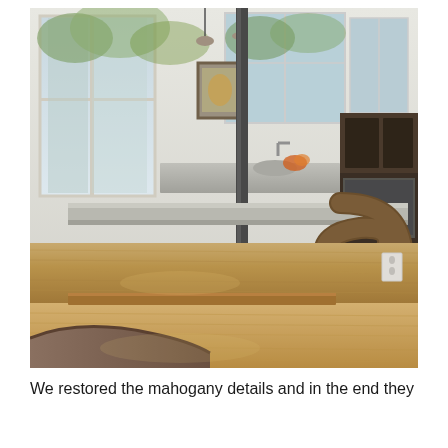[Figure (photo): Interior kitchen and dining area photograph showing a modern open-plan space with warm light wood floors, a curved wooden island or table with a metal pole support, stainless steel accents, floor-to-ceiling windows letting in natural light, dark wood cabinetry in the background kitchen area, and a curved wooden seating bench in the foreground.]
We restored the mahogany details and in the end they